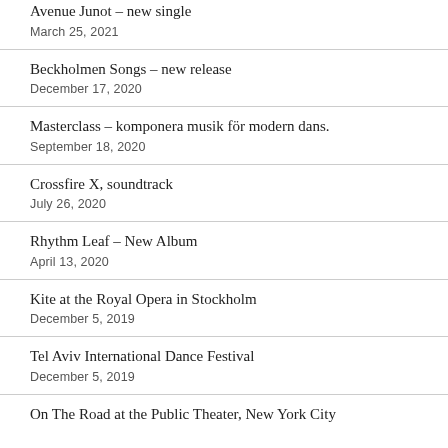Avenue Junot – new single
March 25, 2021
Beckholmen Songs – new release
December 17, 2020
Masterclass – komponera musik för modern dans.
September 18, 2020
Crossfire X, soundtrack
July 26, 2020
Rhythm Leaf – New Album
April 13, 2020
Kite at the Royal Opera in Stockholm
December 5, 2019
Tel Aviv International Dance Festival
December 5, 2019
On The Road at the Public Theater, New York City